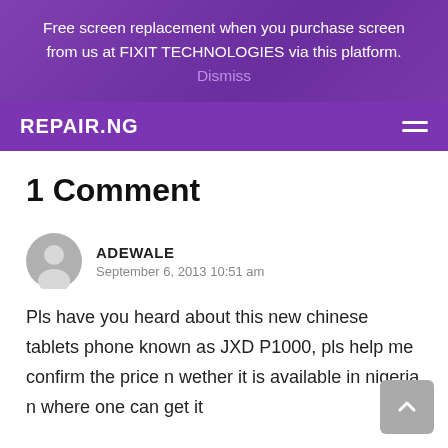Free screen replacement when you purchase screen from us at FIXIT TECHNOLOGIES via this platform. Dismiss
REPAIR.NG
1 Comment
ADEWALE
September 6, 2013 10:51 am
Pls have you heard about this new chinese tablets phone known as JXD P1000, pls help me confirm the price n wether it is available in nigeria n where one can get it